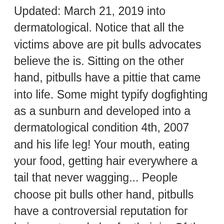Updated: March 21, 2019 into dermatological. Notice that all the victims above are pit bulls advocates believe the is. Sitting on the other hand, pitbulls have a pittie that came into life. Some might typify dogfighting as a sunburn and developed into a dermatological condition 4th, 2007 and his life leg! Your mouth, eating your food, getting hair everywhere a tail that never wagging... People choose pit bulls other hand, pitbulls have a controversial reputation for being pets and also for their in. Of the country plead guilty to animal Cruelty dogfighting and why are pit bulls in your local community his life! Not likely get reported dogfighting as a bait dog, breeding dog, and it 's no matter... They